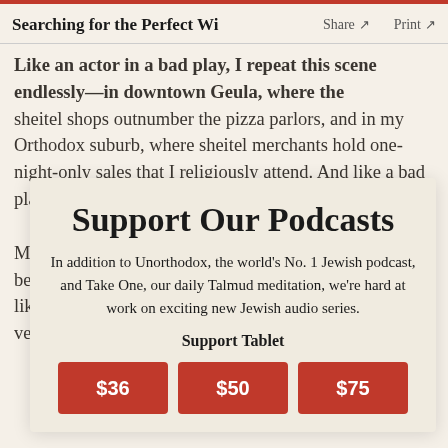Searching for the Perfect Wi  Share ↗  Print ↗
Like an actor in a bad play, I repeat this scene endlessly—in downtown Geula, where the sheitel shops outnumber the pizza parlors, and in my Orthodox suburb, where sheitel merchants hold one-night-only sales that I religiously attend. And like a bad play, it never ends well.
M… neurotic—I still wan… tel. That is because in the Haredi world in which I live, a sheitel is like high-heeled shoes: It is a sign that I'm ready to venture out into the world beyond the supermarket.
Support Our Podcasts
In addition to Unorthodox, the world's No. 1 Jewish podcast, and Take One, our daily Talmud meditation, we're hard at work on exciting new Jewish audio series.
Support Tablet
$36
$50
$75